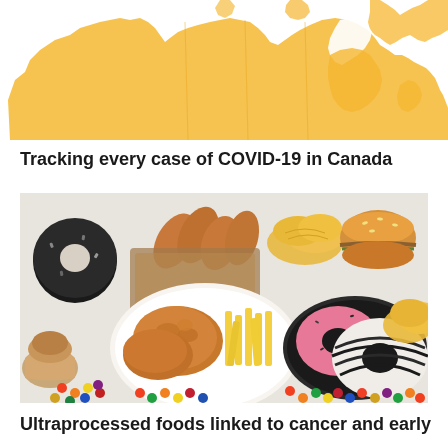[Figure (map): Partial map of Canada shown in golden/amber color with province outlines visible, cropped at top]
Tracking every case of COVID-19 in Canada
[Figure (photo): Overhead photo of various ultraprocessed foods including fried chicken, french fries, donuts with pink and white frosting, chips, croissants, hot dogs, burgers, candy, and a muffin arranged on a white surface]
Ultraprocessed foods linked to cancer and early